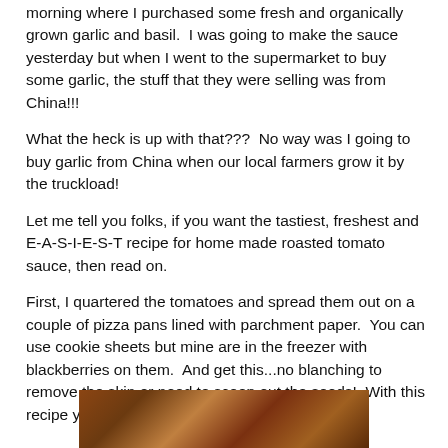morning where I purchased some fresh and organically grown garlic and basil.  I was going to make the sauce yesterday but when I went to the supermarket to buy some garlic, the stuff that they were selling was from China!!!
What the heck is up with that???  No way was I going to buy garlic from China when our local farmers grow it by the truckload!
Let me tell you folks, if you want the tastiest, freshest and E-A-S-I-E-S-T recipe for home made roasted tomato sauce, then read on.
First, I quartered the tomatoes and spread them out on a couple of pizza pans lined with parchment paper.  You can use cookie sheets but mine are in the freezer with blackberries on them.  And get this...no blanching to remove the skin or need to scoop out the seeds!  With this recipe you use the whole enchilada tomato!
[Figure (photo): Partial photo of food items, likely roasted tomatoes, visible at bottom of page]